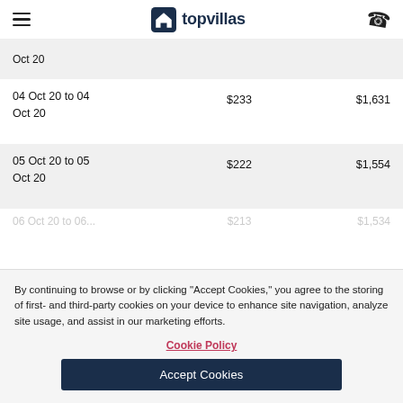topvillas
| Date | Price | Total |
| --- | --- | --- |
| Oct 20 |  |  |
| 04 Oct 20 to 04 Oct 20 | $233 | $1,631 |
| 05 Oct 20 to 05 Oct 20 | $222 | $1,554 |
| 06 Oct 20 to 06 ... | $213 | $1,534 |
By continuing to browse or by clicking “Accept Cookies,” you agree to the storing of first- and third-party cookies on your device to enhance site navigation, analyze site usage, and assist in our marketing efforts.
Cookie Policy
Accept Cookies